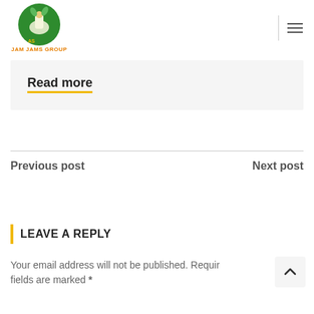[Figure (logo): Jam Jams Group logo - green circle with food illustration and text 'JAM JAMS GROUP' in orange below]
Read more
Previous post
Next post
LEAVE A REPLY
Your email address will not be published. Required fields are marked *